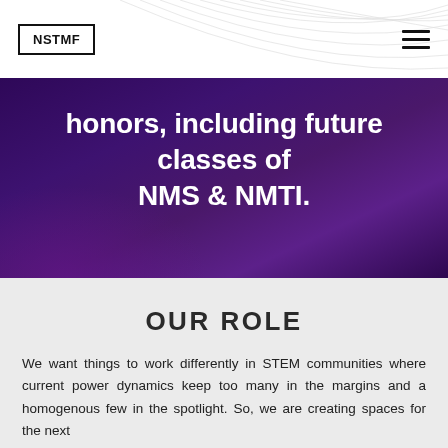NSTMF
honors, including future classes of NMS & NMTI.
OUR ROLE
We want things to work differently in STEM communities where current power dynamics keep too many in the margins and a homogenous few in the spotlight. So, we are creating spaces for the next